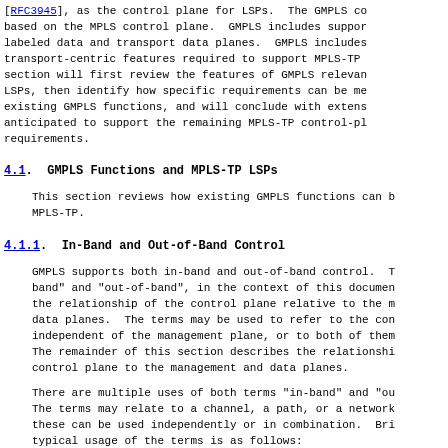[RFC3945], as the control plane for LSPs. The GMPLS co based on the MPLS control plane. GMPLS includes suppor labeled data and transport data planes. GMPLS includes transport-centric features required to support MPLS-TP section will first review the features of GMPLS relevan LSPs, then identify how specific requirements can be me existing GMPLS functions, and will conclude with extens anticipated to support the remaining MPLS-TP control-pl requirements.
4.1. GMPLS Functions and MPLS-TP LSPs
This section reviews how existing GMPLS functions can b MPLS-TP.
4.1.1. In-Band and Out-of-Band Control
GMPLS supports both in-band and out-of-band control. T band" and "out-of-band", in the context of this documen the relationship of the control plane relative to the m data planes. The terms may be used to refer to the con independent of the management plane, or to both of them The remainder of this section describes the relationshi control plane to the management and data planes.
There are multiple uses of both terms "in-band" and "ou The terms may relate to a channel, a path, or a network these can be used independently or in combination. Bri typical usage of the terms is as follows: